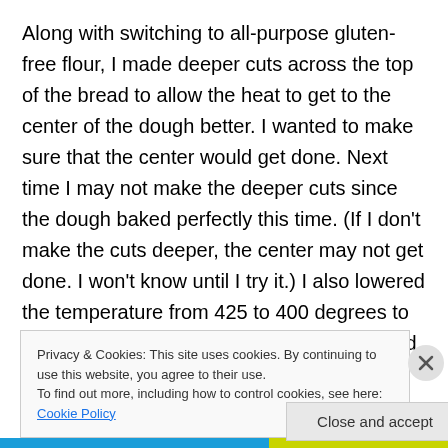Along with switching to all-purpose gluten-free flour, I made deeper cuts across the top of the bread to allow the heat to get to the center of the dough better. I wanted to make sure that the center would get done. Next time I may not make the deeper cuts since the dough baked perfectly this time. (If I don't make the cuts deeper, the center may not get done. I won't know until I try it.) I also lowered the temperature from 425 to 400 degrees to keep the top from browning before the bread finished baking. This was a necessary adjustment that I have learned working with gluten-free flour.
Privacy & Cookies: This site uses cookies. By continuing to use this website, you agree to their use.
To find out more, including how to control cookies, see here: Cookie Policy
Close and accept